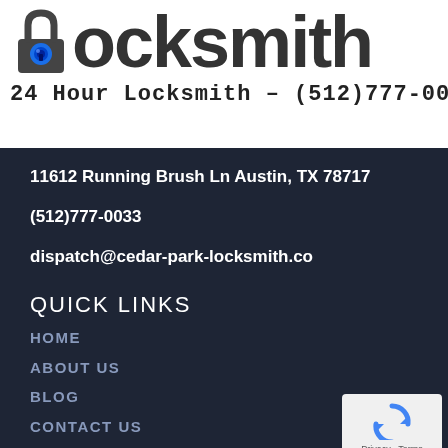[Figure (logo): Locksmith company logo with blue lock icon and text 'Locksmith' in bold dark letters, with tagline '24 Hour Locksmith - (512)777-0033']
11612 Running Brush Ln Austin, TX 78717
(512)777-0033
dispatch@cedar-park-locksmith.co
QUICK LINKS
HOME
ABOUT US
BLOG
CONTACT US
PRICING